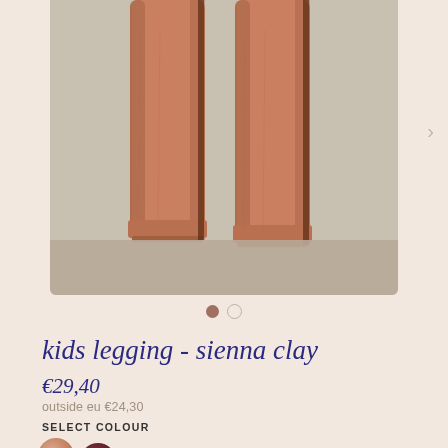[Figure (photo): Close-up photo of kids legging in sienna clay color, showing the bottom legs/hem of the legging against a grey-beige background]
kids legging - sienna clay
€29,40
outside eu €24,30
SELECT COLOUR